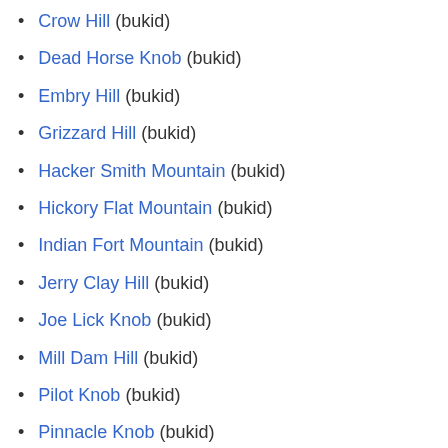Crow Hill (bukid)
Dead Horse Knob (bukid)
Embry Hill (bukid)
Grizzard Hill (bukid)
Hacker Smith Mountain (bukid)
Hickory Flat Mountain (bukid)
Indian Fort Mountain (bukid)
Jerry Clay Hill (bukid)
Joe Lick Knob (bukid)
Mill Dam Hill (bukid)
Pilot Knob (bukid)
Pinnacle Knob (bukid)